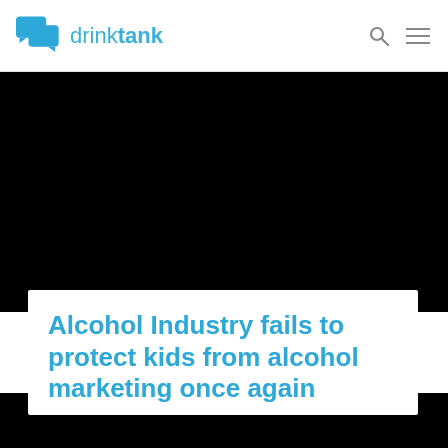drinktank
[Figure (photo): Black background image area, appears to be a dark/blank media area]
Alcohol Industry fails to protect kids from alcohol marketing once again